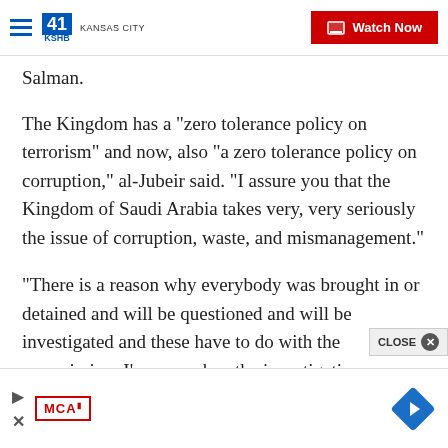41 KSHB KANSAS CITY | Watch Now
Salman.
The Kingdom has a "zero tolerance policy on terrorism" and now, also "a zero tolerance policy on corruption," al-Jubeir said. "I assure you that the Kingdom of Saudi Arabia takes very, very seriously the issue of corruption, waste, and mismanagement."
"There is a reason why everybody was brought in or detained and will be questioned and will be investigated and these have to do with the commission. I'm sure when the investigations are complete that
[Figure (screenshot): Advertisement bar with MCA logo, play button, close button, and navigation arrow icon]
CLOSE ×